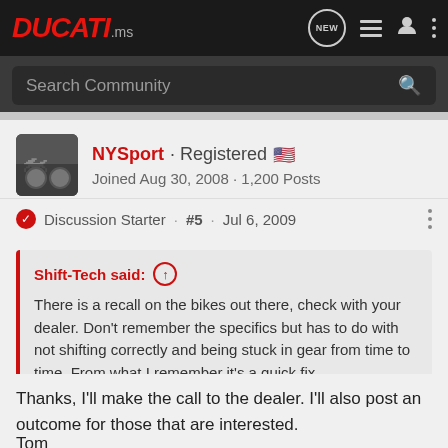DUCATI.ms
Search Community
NYSport · Registered
Joined Aug 30, 2008 · 1,200 Posts
Discussion Starter · #5 · Jul 6, 2009
Shift-Tech said:
There is a recall on the bikes out there, check with your dealer. Don't remember the specifics but has to do with not shifting correctly and being stuck in gear from time to time. From what I remember it's a quick fix.....
Thanks, I'll make the call to the dealer. I'll also post an outcome for those that are interested.
Tom